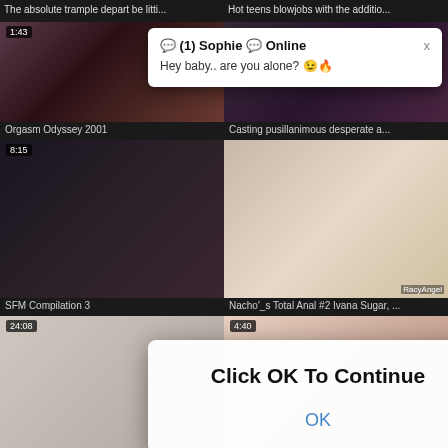The absolute trample depart be litti...
Hot teens blowjobs with the additio...
[Figure (screenshot): Video thumbnail with timestamp 1:43]
[Figure (screenshot): Video thumbnail with Sophie chat notification overlay]
Orgasm Odyssey 2001
Casting pusillanimous desperate a...
[Figure (screenshot): Video thumbnail with timestamp 8:15 and Click OK To Continue dialog overlay]
[Figure (screenshot): Video thumbnail RacyAngel]
SFM Compilation 3
Nacho'_s Total Anal #2 Ivana Sugar, ...
[Figure (screenshot): Video thumbnail with timestamp 24:08]
[Figure (screenshot): Video thumbnail with timestamp 4:40]